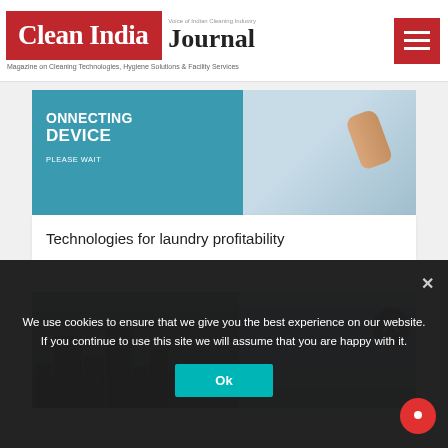[Figure (logo): Clean India Journal logo with red background and hamburger menu icon]
Magazine on Cleaning Technologies, Hygiene Solutions & Facility Services
[Figure (photo): Phone screen showing CONNECTING DEVICE PLEASE WAIT text, hand holding device]
Technologies for laundry profitability
[Figure (photo): City skyline with dark smoggy left side and clear blue right side]
We use cookies to ensure that we give you the best experience on our website. If you continue to use this site we will assume that you are happy with it.